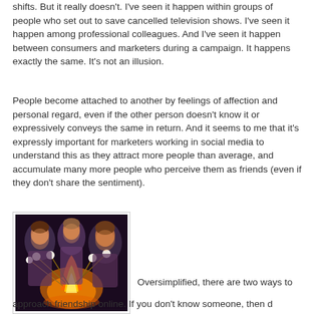shifts. But it really doesn't. I've seen it happen within groups of people who set out to save cancelled television shows. I've seen it happen among professional colleagues. And I've seen it happen between consumers and marketers during a campaign. It happens exactly the same. It's not an illusion.
People become attached to another by feelings of affection and personal regard, even if the other person doesn't know it or expressively conveys the same in return. And it seems to me that it's expressly important for marketers working in social media to understand this as they attract more people than average, and accumulate many more people who perceive them as friends (even if they don't share the sentiment).
[Figure (photo): Photo of a group of young women gathered around a campfire, roasting marshmallows, with warm orange firelight illuminating their faces]
Oversimplified, there are two ways to approach friendship online. If you don't know someone, then d...